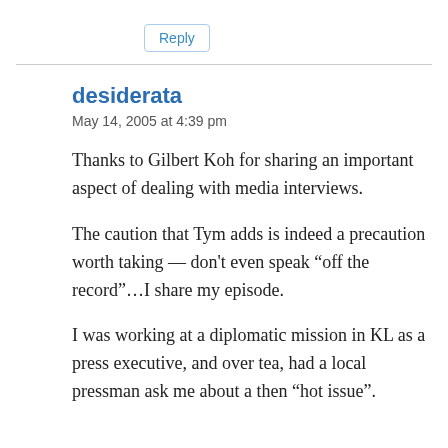Reply
desiderata
May 14, 2005 at 4:39 pm
Thanks to Gilbert Koh for sharing an important aspect of dealing with media interviews.
The caution that Tym adds is indeed a precaution worth taking — don't even speak “off the record”…I share my episode.
I was working at a diplomatic mission in KL as a press executive, and over tea, had a local pressman ask me about a then “hot issue”.